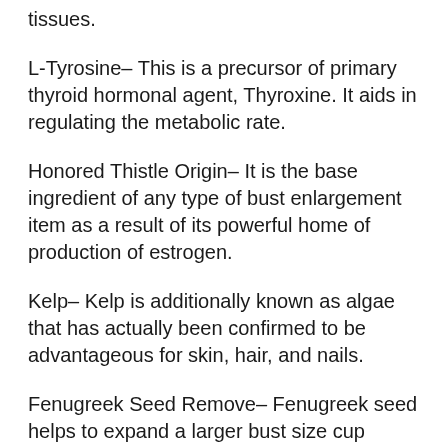tissues.
L-Tyrosine– This is a precursor of primary thyroid hormonal agent, Thyroxine. It aids in regulating the metabolic rate.
Honored Thistle Origin– It is the base ingredient of any type of bust enlargement item as a result of its powerful home of production of estrogen.
Kelp– Kelp is additionally known as algae that has actually been confirmed to be advantageous for skin, hair, and nails.
Fenugreek Seed Remove– Fenugreek seed helps to expand a larger bust size cup normally by managing the hormone degree